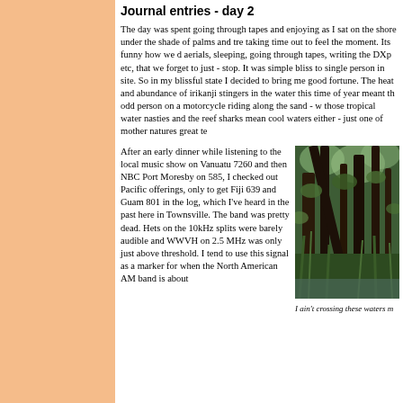Journal entries - day 2
The day was spent going through tapes and enjoying as I sat on the shore under the shade of palms and trees taking time out to feel the moment. Its funny how we do aerials, sleeping, going through tapes, writing the DXp etc, that we forget to just - stop. It was simple bliss to single person in site. So in my blissful state I decided to bring me good fortune. The heat and abundance of irikanji stingers in the water this time of year meant th odd person on a motorcycle riding along the sand - w those tropical water nasties and the reef sharks mean cool waters either - just one of mother natures great te
After an early dinner while listening to the local music show on Vanuatu 7260 and then NBC Port Moresby on 585, I checked out Pacific offerings, only to get Fiji 639 and Guam 801 in the log, which I've heard in the past here in Townsville. The band was pretty dead. Hets on the 10kHz splits were barely audible and WWVH on 2.5 MHz was only just above threshold. I tend to use this signal as a marker for when the North American AM band is about
[Figure (photo): Dense tropical/subtropical forest vegetation with dark tree trunks and green undergrowth near water]
I ain't crossing these waters m